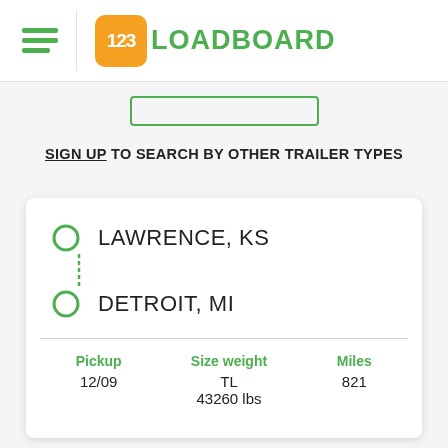[Figure (logo): 123Loadboard logo with orange rounded square icon showing '123' and green text 'LOADBOARD']
SIGN UP TO SEARCH BY OTHER TRAILER TYPES
LAWRENCE, KS
DETROIT, MI
| Pickup | Size weight | Miles |
| --- | --- | --- |
| 12/09 | TL
43260 lbs | 821 |